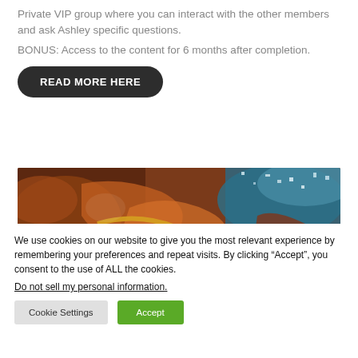Private VIP group where you can interact with the other members and ask Ashley specific questions.
BONUS: Access to the content for 6 months after completion.
READ MORE HERE
[Figure (photo): Close-up photo of colorful mineral or geological formation with brown, orange, yellow and blue-green textures]
We use cookies on our website to give you the most relevant experience by remembering your preferences and repeat visits. By clicking “Accept”, you consent to the use of ALL the cookies.
Do not sell my personal information.
Cookie Settings
Accept